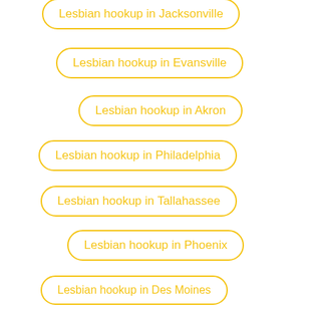Lesbian hookup in Jacksonville
Lesbian hookup in Evansville
Lesbian hookup in Akron
Lesbian hookup in Philadelphia
Lesbian hookup in Tallahassee
Lesbian hookup in Phoenix
Lesbian hookup in Des Moines
Lesbian hookup in Miami